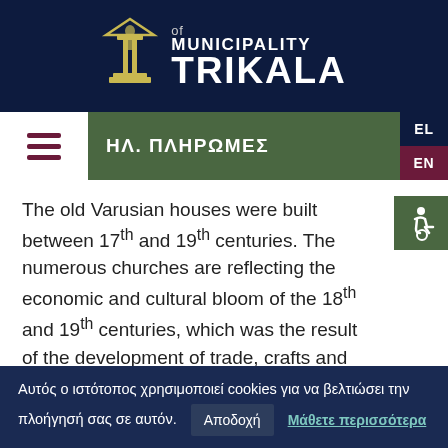MUNICIPALITY of TRIKALA
ΗΛ. ΠΛΗΡΩΜΕΣ
The old Varusian houses were built between 17th and 19th centuries. The numerous churches are reflecting the economic and cultural bloom of the 18th and 19th centuries, which was the result of the development of trade, crafts and small industries.
Varoussi is distinguished for the beautiful
Αυτός ο ιστότοπος χρησιμοποιεί cookies για να βελτιώσει την πλοήγησή σας σε αυτόν. Αποδοχή Μάθετε περισσότερα